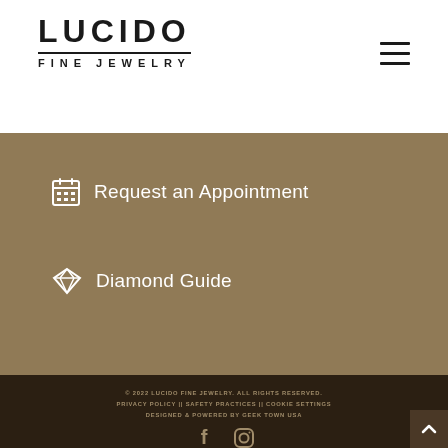[Figure (logo): Lucido Fine Jewelry logo with bold uppercase text LUCIDO, horizontal rule, and FINE JEWELRY beneath]
Request an Appointment
Diamond Guide
© 2022 LUCIDO FINE JEWELRY. ALL RIGHTS RESERVED.
PRIVACY POLICY || SAFETY PRACTICES || COOKIE SETTINGS
DESIGNED & POWERED BY GEEK TOWN USA